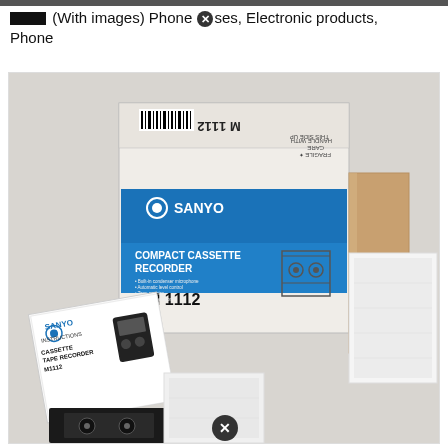▓▓▓ (With images) Phone ⊗ses, Electronic products, Phone
[Figure (photo): Photo of a Sanyo Compact Cassette Recorder M1112 product box, opened, showing the box (M 1112 printed on top, upside down, with barcode; blue Sanyo label on front reading COMPACT CASSETTE RECORDER M 1112), a white foam/styrofoam insert, and a Sanyo instruction booklet for the Cassette Tape Recorder M1112. A close button (black circle with X) appears at the bottom center of the image.]